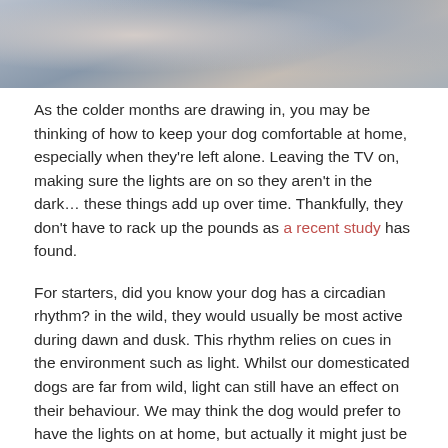[Figure (photo): Partial top photo of a dog resting on bedding/pillows, cropped at the top of the page]
As the colder months are drawing in, you may be thinking of how to keep your dog comfortable at home, especially when they're left alone. Leaving the TV on, making sure the lights are on so they aren't in the dark… these things add up over time. Thankfully, they don't have to rack up the pounds as a recent study has found.
For starters, did you know your dog has a circadian rhythm? in the wild, they would usually be most active during dawn and dusk. This rhythm relies on cues in the environment such as light. Whilst our domesticated dogs are far from wild, light can still have an effect on their behaviour. We may think the dog would prefer to have the lights on at home, but actually it might just be a habitual process we've created and they may be more comfortable with natural light. And don't forget, dogs can see much better in the twilight than we can.
Rest is such an important factor in our dogs' lives. By turning the light off and opening a curtain, they can get better rest – in tune with their